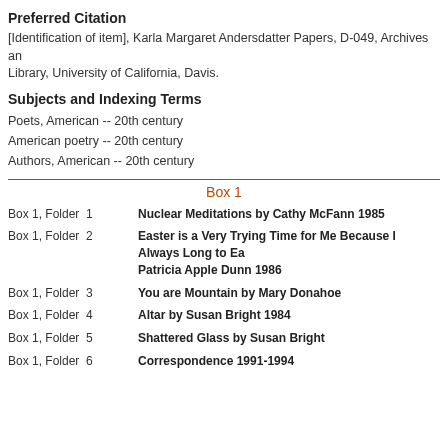Preferred Citation
[Identification of item], Karla Margaret Andersdatter Papers, D-049, Archives and Special Collections, Library, University of California, Davis.
Subjects and Indexing Terms
Poets, American -- 20th century
American poetry -- 20th century
Authors, American -- 20th century
Box 1
Box 1, Folder 1   Nuclear Meditations by Cathy McFann 1985
Box 1, Folder 2   Easter is a Very Trying Time for Me Because I Always Long to Ea... Patricia Apple Dunn 1986
Box 1, Folder 3   You are Mountain by Mary Donahoe
Box 1, Folder 4   Altar by Susan Bright 1984
Box 1, Folder 5   Shattered Glass by Susan Bright
Box 1, Folder 6   Correspondence 1991-1994